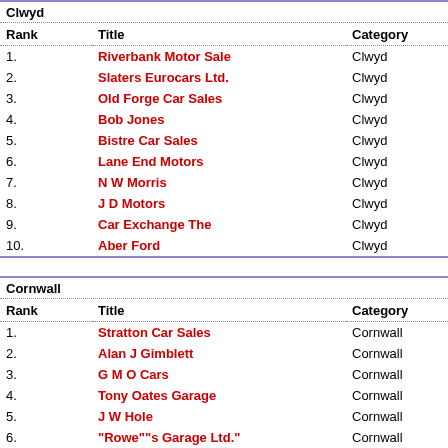Clwyd
| Rank | Title | Category |
| --- | --- | --- |
| 1. | Riverbank Motor Sale | Clwyd |
| 2. | Slaters Eurocars Ltd. | Clwyd |
| 3. | Old Forge Car Sales | Clwyd |
| 4. | Bob Jones | Clwyd |
| 5. | Bistre Car Sales | Clwyd |
| 6. | Lane End Motors | Clwyd |
| 7. | N W Morris | Clwyd |
| 8. | J D Motors | Clwyd |
| 9. | Car Exchange The | Clwyd |
| 10. | Aber Ford | Clwyd |
Cornwall
| Rank | Title | Category |
| --- | --- | --- |
| 1. | Stratton Car Sales | Cornwall |
| 2. | Alan J Gimblett | Cornwall |
| 3. | G M O Cars | Cornwall |
| 4. | Tony Oates Garage | Cornwall |
| 5. | J W Hole | Cornwall |
| 6. | "Rowe""s Garage Ltd." | Cornwall |
| 7. | Phil Dudley | Cornwall |
| 8. | ... | Cornwall |